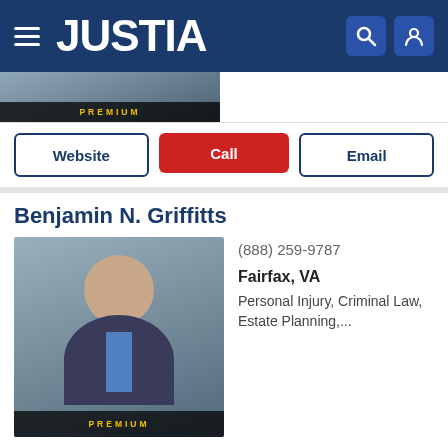JUSTIA
[Figure (screenshot): Premium attorney photo strip with PREMIUM label]
Website | Call | Email
Benjamin N. Griffitts
[Figure (photo): Headshot of Benjamin N. Griffitts with PREMIUM badge]
(888) 259-9787
Fairfax, VA
Personal Injury, Criminal Law, Estate Planning,...
Website | Call | Email
Faraji A. Rosenthall
[Figure (photo): Headshot of Faraji A. Rosenthall]
(703) 934-0101
Fairfax, VA